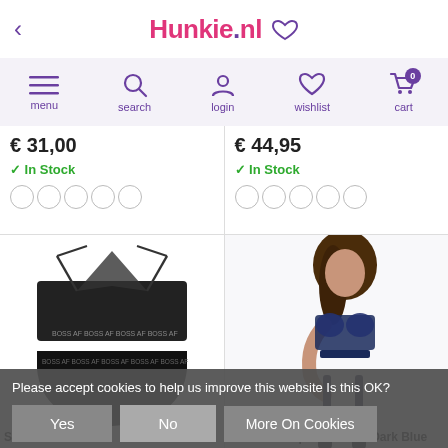Hunkie.nl
[Figure (screenshot): Navigation bar with menu, search, login, wishlist, cart icons]
€ 31,00
✓ In Stock
€ 44,95
✓ In Stock
[Figure (photo): Black sheer mesh lingerie bra and brief set laid flat]
[Figure (photo): Model wearing dark blue lace bra and suspender set]
Sheer...
Drift On Suspender Set - Dark Blue
Please accept cookies to help us improve this website Is this OK?
Yes
No
More On Cookies